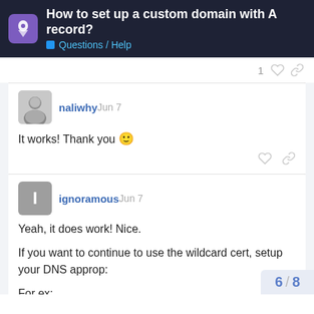How to set up a custom domain with A record? | Questions / Help
1
naliwhy Jun 7
It works! Thank you 🙂
ignoramous Jun 7
Yeah, it does work! Nice.

If you want to continue to use the wildcard cert, setup your DNS approp:

For ex:
6 / 8